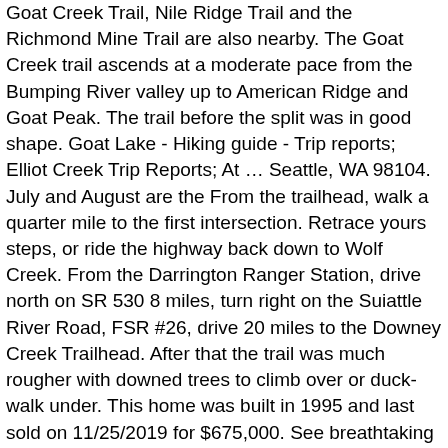Goat Creek Trail, Nile Ridge Trail and the Richmond Mine Trail are also nearby. The Goat Creek trail ascends at a moderate pace from the Bumping River valley up to American Ridge and Goat Peak. The trail before the split was in good shape. Goat Lake - Hiking guide - Trip reports; Elliot Creek Trip Reports; At … Seattle, WA 98104. July and August are the From the trailhead, walk a quarter mile to the first intersection. Retrace yours steps, or ride the highway back down to Wolf Creek. From the Darrington Ranger Station, drive north on SR 530 8 miles, turn right on the Suiattle River Road, FSR #26, drive 20 miles to the Downey Creek Trailhead. After that the trail was much rougher with downed trees to climb over or duck-walk under. This home was built in 1995 and last sold on 11/25/2019 for $675,000. See breathtaking mountain views on the Goat Creek trail. This is a perfect hike if you want to get a feel for Washington's forests, though it's not necessarily indicative of what the rest of the National Volcanic Monument is like. Photo by Lisa Black. Because this part of the monument is so